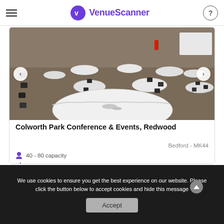VenueScanner
[Figure (photo): Indoor conference/event room with round tables covered in white tablecloths and black chairs arranged throughout the space]
Colworth Park Conference & Events, Redwood
Bedford - MK44
40 - 80 capacity
92% would book it again
POA  price on asking
We use cookies to ensure you get the best experience on our website. Please click the button below to accept cookies and hide this message